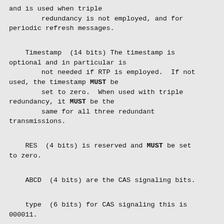and is used when triple redundancy is not employed, and for periodic refresh messages.
Timestamp  (14 bits) The timestamp is optional and in particular is not needed if RTP is employed.  If not used, the timestamp MUST be set to zero.  When used with triple redundancy, it MUST be the same for all three redundant transmissions.
RES  (4 bits) is reserved and MUST be set to zero.
ABCD  (4 bits) are the CAS signaling bits.
type  (6 bits) for CAS signaling this is 000011.
CRC-10  (10 bits) is a 10-bit CRC error detection code.